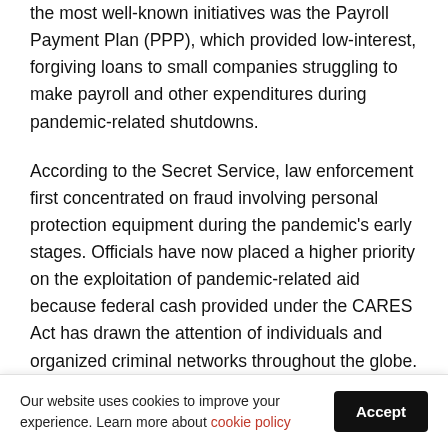the most well-known initiatives was the Payroll Payment Plan (PPP), which provided low-interest, forgiving loans to small companies struggling to make payroll and other expenditures during pandemic-related shutdowns.
According to the Secret Service, law enforcement first concentrated on fraud involving personal protection equipment during the pandemic's early stages. Officials have now placed a higher priority on the exploitation of pandemic-related aid because federal cash provided under the CARES Act has drawn the attention of individuals and organized criminal networks throughout the globe.
Our website uses cookies to improve your experience. Learn more about cookie policy